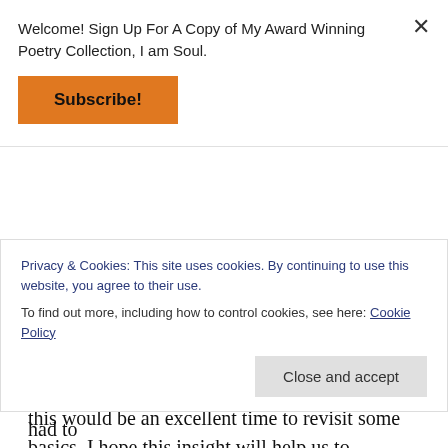Welcome! Sign Up For A Copy of My Award Winning Poetry Collection, I am Soul.
[Figure (other): Orange Subscribe! button]
this event. In light of the 400th year, I thought this would be an excellent time to revisit some basics. I hope this insight will help us to understand the many disadvantages Blacks have faced since “freedom,” and why the failure of the U.S. to move on its promises to Blacks set a pattern that will
Privacy & Cookies: This site uses cookies. By continuing to use this website, you agree to their use.
To find out more, including how to control cookies, see here: Cookie Policy
Close and accept
America), the U.S. government realized that it had to